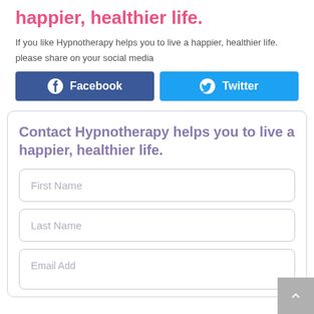happier, healthier life.
If you like Hypnotherapy helps you to live a happier, healthier life.
please share on your social media
[Figure (infographic): Facebook and Twitter share buttons side by side]
Contact Hypnotherapy helps you to live a happier, healthier life.
First Name
Last Name
Email Address